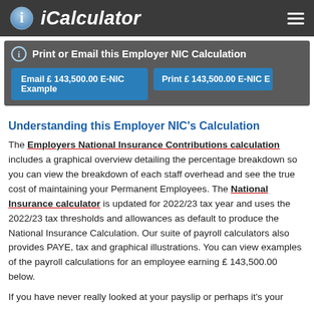iCalculator
Print or Email this Employer NIC Calculation
Email £ 143,500.00 E-NIC Example
Print £ 143,500.00 E-NIC E...
Understanding this Employer NIC's Calculation
The Employers National Insurance Contributions calculation includes a graphical overview detailing the percentage breakdown so you can view the breakdown of each staff overhead and see the true cost of maintaining your Permanent Employees. The National Insurance calculator is updated for 2022/23 tax year and uses the 2022/23 tax thresholds and allowances as default to produce the National Insurance Calculation. Our suite of payroll calculators also provides PAYE, tax and graphical illustrations. You can view examples of the payroll calculations for an employee earning £ 143,500.00 below.
If you have never really looked at your payslip or perhaps it's your